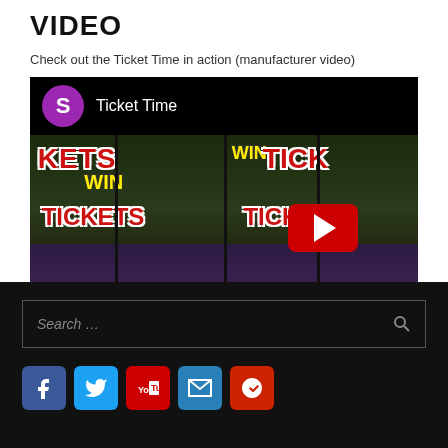VIDEO
Check out the Ticket Time in action (manufacturer video)
[Figure (screenshot): Embedded YouTube video thumbnail showing arcade ticket dispensing machines with 'WIN TICKETS' banners, a purple avatar with letter S, title 'Ticket Time', and YouTube play button overlay.]
[Figure (screenshot): Search bar on dark background with placeholder text 'Search ...' and a magnifier icon on the right.]
[Figure (infographic): Row of social media icons: Facebook (blue), Twitter (light blue), YouTube (red), Mail/M (blue), Yelp (red-orange).]